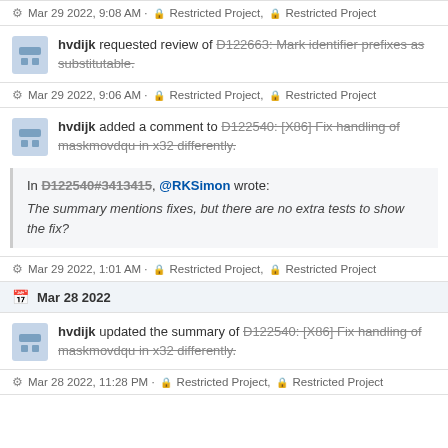Mar 29 2022, 9:08 AM · Restricted Project, Restricted Project
hvdijk requested review of D122663: Mark identifier prefixes as substitutable.
Mar 29 2022, 9:06 AM · Restricted Project, Restricted Project
hvdijk added a comment to D122540: [X86] Fix handling of maskmovdqu in x32 differently.
In D122540#3413415, @RKSimon wrote: The summary mentions fixes, but there are no extra tests to show the fix?
Mar 29 2022, 1:01 AM · Restricted Project, Restricted Project
Mar 28 2022
hvdijk updated the summary of D122540: [X86] Fix handling of maskmovdqu in x32 differently.
Mar 28 2022, 11:28 PM · Restricted Project, Restricted Project